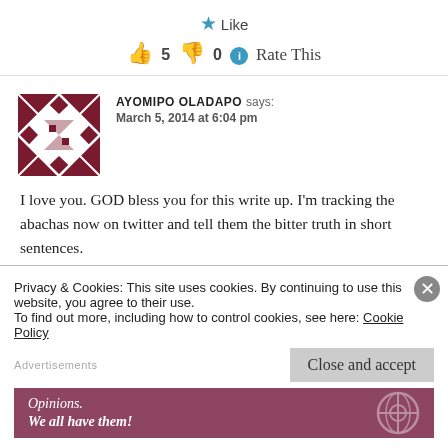★ Like
👍 5 👎 0 ℹ Rate This
AYOMIPO OLADAPO says:
March 5, 2014 at 6:04 pm
I love you. GOD bless you for this write up. I'm tracking the abachas now on twitter and tell them the bitter truth in short sentences.
★ Like
Privacy & Cookies: This site uses cookies. By continuing to use this website, you agree to their use.
To find out more, including how to control cookies, see here: Cookie Policy
Close and accept